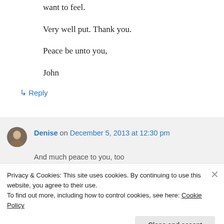want to feel.
Very well put. Thank you.
Peace be unto you,
John
↳ Reply
Denise on December 5, 2013 at 12:30 pm
And much peace to you, too
Privacy & Cookies: This site uses cookies. By continuing to use this website, you agree to their use.
To find out more, including how to control cookies, see here: Cookie Policy
Close and accept